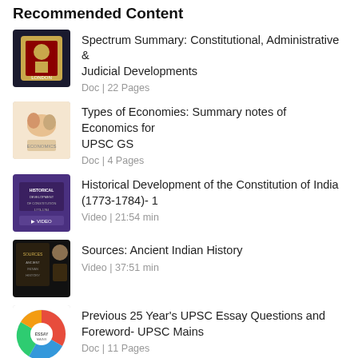Recommended Content
Spectrum Summary: Constitutional, Administrative & Judicial Developments
Doc | 22 Pages
Types of Economies: Summary notes of Economics for UPSC GS
Doc | 4 Pages
Historical Development of the Constitution of India (1773-1784)- 1
Video | 21:54 min
Sources: Ancient Indian History
Video | 37:51 min
Previous 25 Year's UPSC Essay Questions and Foreword- UPSC Mains
Doc | 11 Pages
Recommended Tests
Test: Buddhism & Jainism